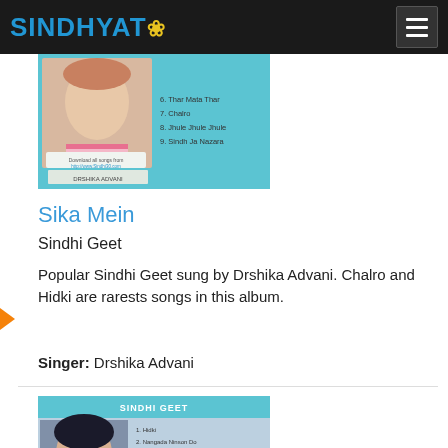SINDHYAT
[Figure (photo): Album cover image for a Sindhi Geet album featuring a girl singer, with teal background and song list on the right side. Singer name shown as DRSHIKA ADVANI.]
Sika Mein
Sindhi Geet
Popular Sindhi Geet sung by Drshika Advani. Chalro and Hidki are rarests songs in this album.
Singer: Drshika Advani
[Figure (photo): Album cover for Sindhi Geet featuring a female singer with dark hair, teal header reading SINDHI GEET, and a track listing including Hidki, Nangada Ninson Do, Sika Mein, Rana Waraj Ra Chan, Asanjo Kardo, Thar Mata Thar.]